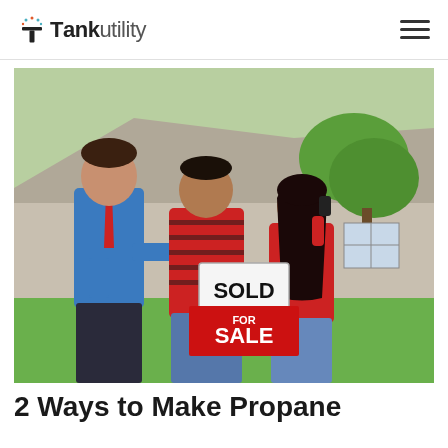Tank Utility
[Figure (photo): A real estate agent in a blue shirt and red tie handing a SOLD sign to a couple (man in red striped shirt, woman in red top talking on phone) standing in front of a house with green lawn.]
2 Ways to Make Propane